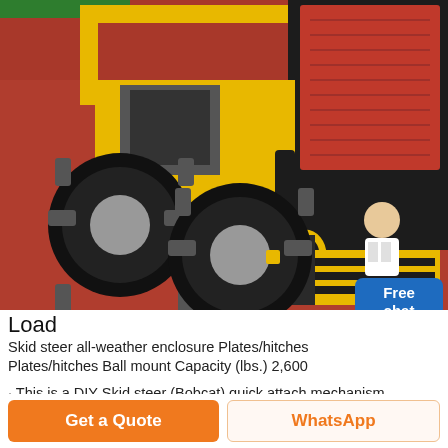[Figure (photo): A yellow skid steer loader photographed from the side/rear showing large black rubber tires with grey treads, yellow frame, black rear panel, red engine compartment, and yellow step platform. A 'Free chat' widget with a person icon is overlaid on the right side of the image.]
Load
Skid steer all-weather enclosure Plates/hitches Plates/hitches Ball mount Capacity (lbs.) 2,600
· This is a DIY Skid steer (Bobcat) quick attach mechanism
Get a Quote
WhatsApp